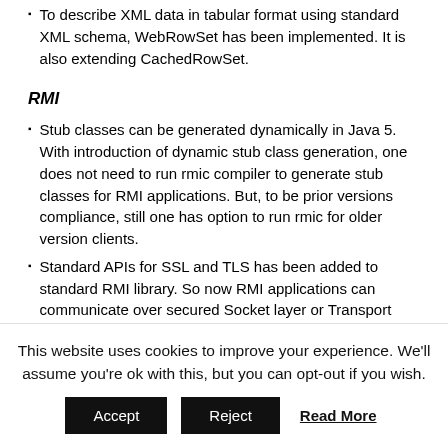To describe XML data in tabular format using standard XML schema, WebRowSet has been implemented. It is also extending CachedRowSet.
RMI
Stub classes can be generated dynamically in Java 5. With introduction of dynamic stub class generation, one does not need to run rmic compiler to generate stub classes for RMI applications. But, to be prior versions compliance, still one has option to run rmic for older version clients.
Standard APIs for SSL and TLS has been added to standard RMI library. So now RMI applications can communicate over secured Socket layer or Transport...
This website uses cookies to improve your experience. We'll assume you're ok with this, but you can opt-out if you wish.